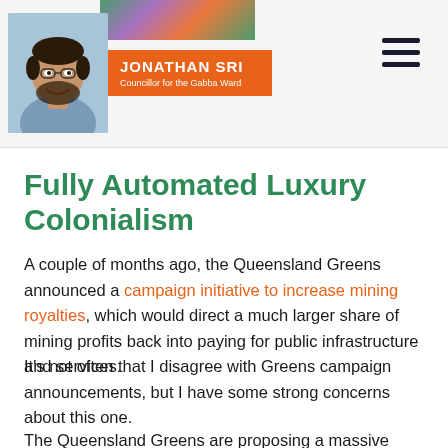Jonathan Sri – Councillor for the Gabba Ward
Fully Automated Luxury Colonialism
A couple of months ago, the Queensland Greens announced a campaign initiative to increase mining royalties, which would direct a much larger share of mining profits back into paying for public infrastructure and services.
It's not often that I disagree with Greens campaign announcements, but I have some strong concerns about this one.
The Queensland Greens are proposing a massive